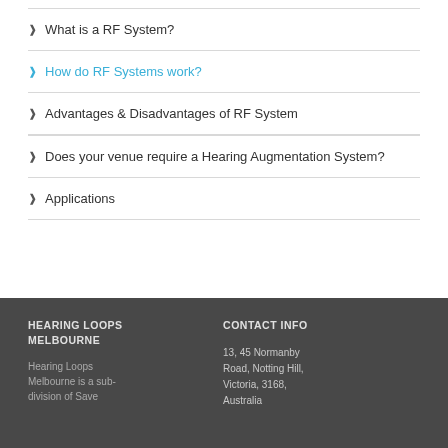What is a RF System?
How do RF Systems work?
Advantages & Disadvantages of RF System
Does your venue require a Hearing Augmentation System?
Applications
HEARING LOOPS MELBOURNE
CONTACT INFO
Hearing Loops Melbourne is a sub-division of Save
13, 45 Normanby Road, Notting Hill, Victoria, 3168, Australia